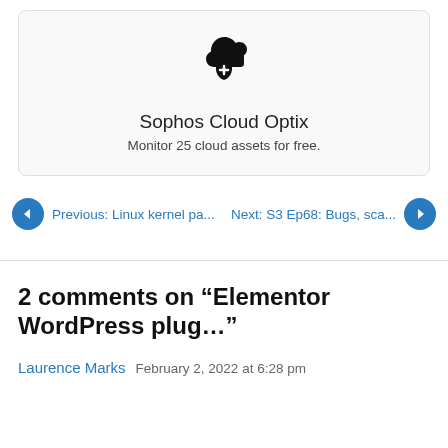[Figure (illustration): Sophos Cloud Optix icon: cloud shield with a plus sign, black on light background]
Sophos Cloud Optix
Monitor 25 cloud assets for free.
Previous: Linux kernel pa...
Next: S3 Ep68: Bugs, sca...
2 comments on “Elementor WordPress plug…”
Laurence Marks  February 2, 2022 at 6:28 pm